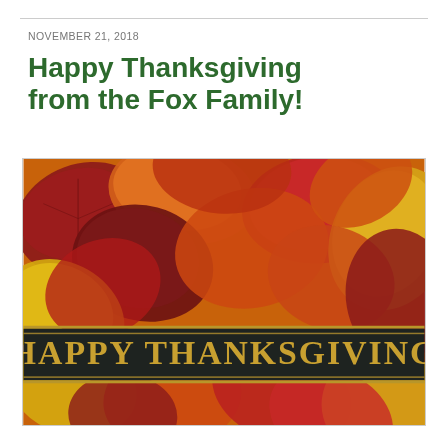NOVEMBER 21, 2018
Happy Thanksgiving from the Fox Family!
[Figure (photo): Autumn maple leaves in red, orange, and yellow colors covering the entire image, with a dark banner across the lower third reading 'HAPPY THANKSGIVING' in large gold serif letters on a dark charcoal/black background with gold border lines.]